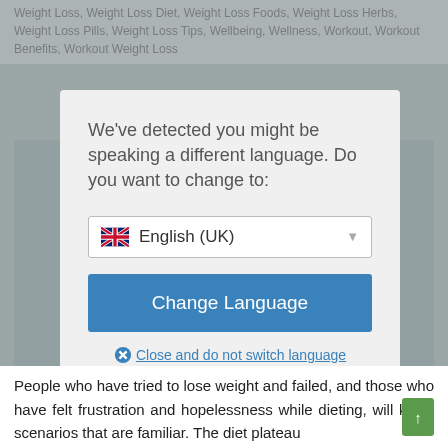Weight Loss, Weight Loss Diet, Weight Loss Foods, Weight Loss Herbs, Weight Loss Pills, Weight Loss Tips, Wellbeing, Wellness, Workout, Workout Benefits, Workout Weight Loss
[Figure (screenshot): Language detection modal dialog with dropdown showing English (UK) with UK flag, Change Language button, and Close and do not switch language link]
People who have tried to lose weight and failed, and those who have felt frustration and hopelessness while dieting, will know scenarios that are familiar. The diet plateau